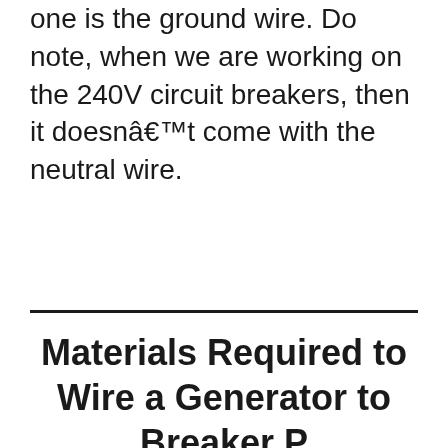one is the ground wire. Do note, when we are working on the 240V circuit breakers, then it doesnâ€™t come with the neutral wire.
Materials Required to Wire a Generator to Breaker P...